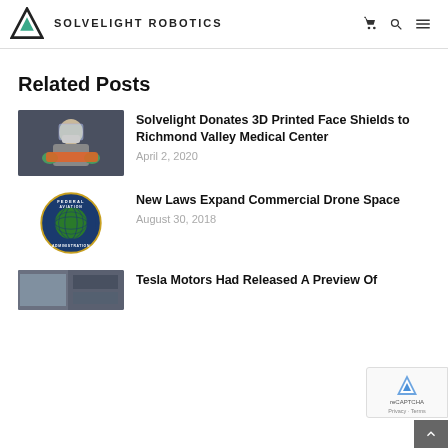Solvelight Robotics
Related Posts
[Figure (photo): Person wearing a face shield and mask holding a 3D printed face shield]
Solvelight Donates 3D Printed Face Shields to Richmond Valley Medical Center
April 2, 2020
[Figure (logo): Federal Aviation Administration circular seal/logo with globe]
New Laws Expand Commercial Drone Space
August 30, 2018
[Figure (photo): Partial thumbnail of a third post]
Tesla Motors Had Released A Preview Of